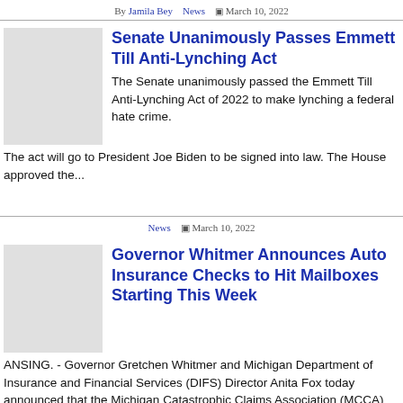By Jamila Bey   News   ▦ March 10, 2022
[Figure (photo): Thumbnail image placeholder for Senate article]
Senate Unanimously Passes Emmett Till Anti-Lynching Act
The Senate unanimously passed the Emmett Till Anti-Lynching Act of 2022 to make lynching a federal hate crime. The act will go to President Joe Biden to be signed into law. The House approved the...
News   ▦ March 10, 2022
[Figure (photo): Thumbnail image placeholder for Governor Whitmer article]
Governor Whitmer Announces Auto Insurance Checks to Hit Mailboxes Starting This Week
ANSING. - Governor Gretchen Whitmer and Michigan Department of Insurance and Financial Services (DIFS) Director Anita Fox today announced that the Michigan Catastrophic Claims Association (MCCA) will...